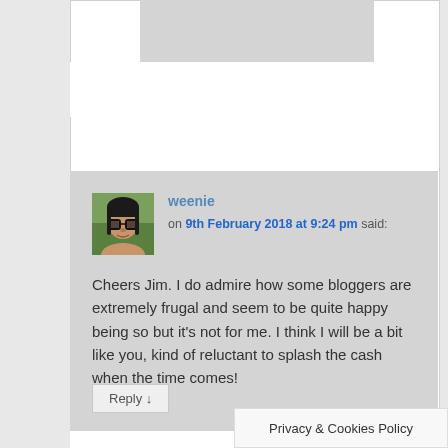[Figure (photo): Top portion of a white comment card with a grey image placeholder at the top]
weenie on 9th February 2018 at 9:24 pm said:
[Figure (photo): Small avatar photo of a woman with glasses and dark hair]
Cheers Jim. I do admire how some bloggers are extremely frugal and seem to be quite happy being so but it's not for me. I think I will be a bit like you, kind of reluctant to splash the cash when the time comes!
Reply ↓
Privacy & Cookies Policy